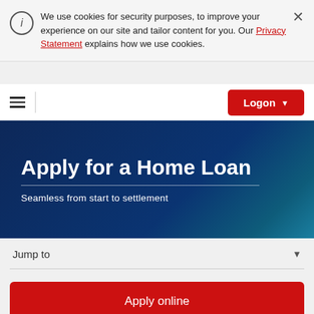We use cookies for security purposes, to improve your experience on our site and tailor content for you. Our Privacy Statement explains how we use cookies.
[Figure (screenshot): Navigation bar with hamburger menu icon and red Logon button with dropdown arrow]
Apply for a Home Loan
Seamless from start to settlement
Jump to
Apply online
Retrieve application